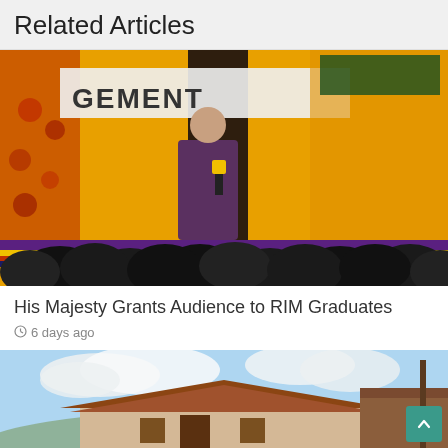Related Articles
[Figure (photo): A speaker standing at a podium addressing an audience at what appears to be a graduation ceremony at RIM. The backdrop is decorated with yellow fabric and traditional Bhutanese decorations. The audience is seated with their backs to the camera.]
His Majesty Grants Audience to RIM Graduates
6 days ago
[Figure (photo): A building with traditional Bhutanese architectural style roof against a cloudy sky.]